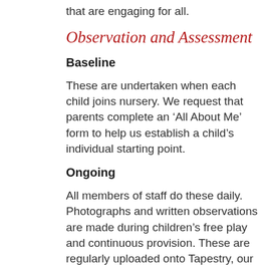that are engaging for all.
Observation and Assessment
Baseline
These are undertaken when each child joins nursery.  We request that parents complete an 'All About Me' form to help us establish a child's individual starting point.
Ongoing
All members of staff do these daily.  Photographs and written observations are made during children's free play and continuous provision.  These are regularly uploaded onto Tapestry, our online learning journey.  Parents and Carers are encouraged to contribute to the